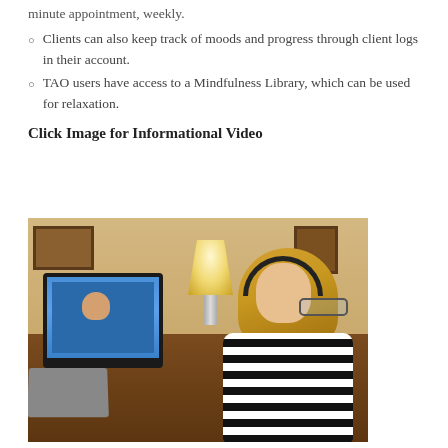minute appointment, weekly.
Clients can also keep track of moods and progress through client logs in their account.
TAO users have access to a Mindfulness Library, which can be used for relaxation.
Click Image for Informational Video
[Figure (photo): A woman with blonde hair wearing a black and white striped top and headphones sits at a desk in an office, looking at a computer monitor showing a video call. A lamp is on the desk.]